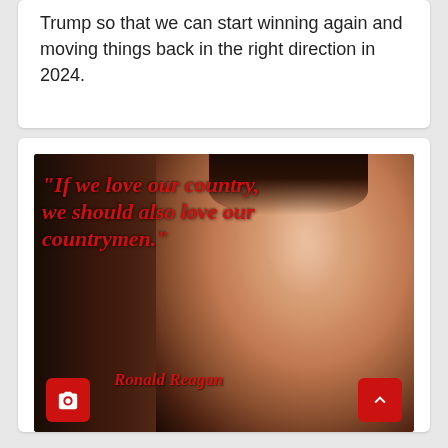Trump so that we can start winning again and moving things back in the right direction in 2024.
[Figure (photo): Photo of Ronald Reagan smiling with an American flag in the background, overlaid with a red italic quote: "If we love our country, we should also love our countrymen." - Ronald Reagan. Camera icon button at bottom left and scroll-up arrow button at bottom right.]